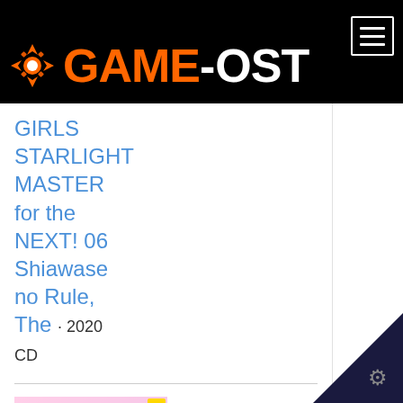[Figure (logo): GAME-OST website logo with snowflake icon on black background header bar, hamburger menu button top right]
GIRLS STARLIGHT MASTER for the NEXT! 06 Shiawase no Rule, The · 2020 CD
[Figure (photo): Album cover thumbnail showing two anime girls in white dresses on pink/purple background]
THE